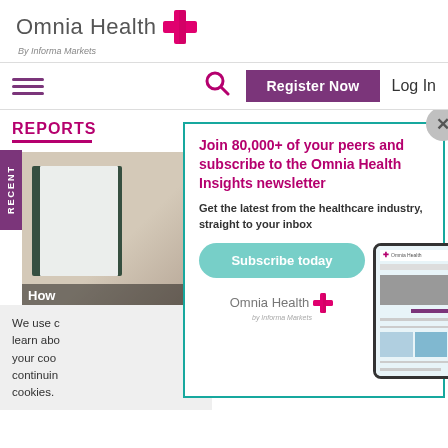[Figure (logo): Omnia Health logo with pink cross, 'By Informa Markets' subtitle]
Register Now | Log In
REPORTS
[Figure (photo): Article card with image and 'How' title overlay, RECENT sidebar]
We use c... learn abo... your coo... continuin... cookies.
[Figure (infographic): Modal popup: Join 80,000+ of your peers and subscribe to the Omnia Health Insights newsletter. Get the latest from the healthcare industry, straight to your inbox. Subscribe today button. Omnia Health logo. Tablet showing website.]